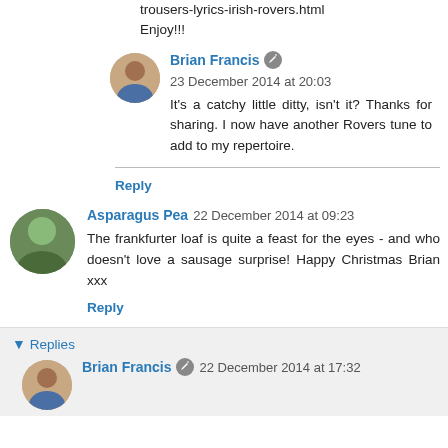trousers-lyrics-irish-rovers.html
Enjoy!!!
Brian Francis   23 December 2014 at 20:03
It's a catchy little ditty, isn't it? Thanks for sharing. I now have another Rovers tune to add to my repertoire.
Reply
Asparagus Pea   22 December 2014 at 09:23
The frankfurter loaf is quite a feast for the eyes - and who doesn't love a sausage surprise! Happy Christmas Brian xxx
Reply
▾ Replies
Brian Francis   22 December 2014 at 17:32